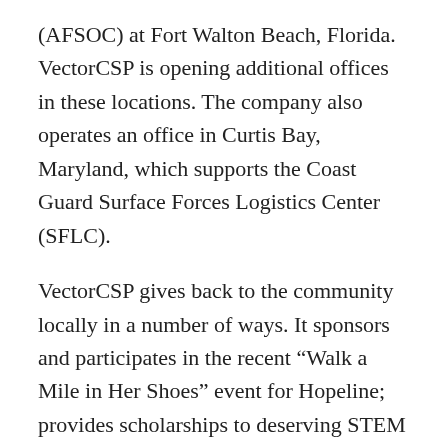(AFSOC) at Fort Walton Beach, Florida. VectorCSP is opening additional offices in these locations. The company also operates an office in Curtis Bay, Maryland, which supports the Coast Guard Surface Forces Logistics Center (SFLC).
VectorCSP gives back to the community locally in a number of ways. It sponsors and participates in the recent “Walk a Mile in Her Shoes” event for Hopeline; provides scholarships to deserving STEM students at the Northeast Academy of Aerospace and Advanced Technology, allowing them to attend summer sessions of the National Flight Academy in Pensacola, Florida; and supports the SPCA and the local school system. On a national level, VectorCSP annually supports